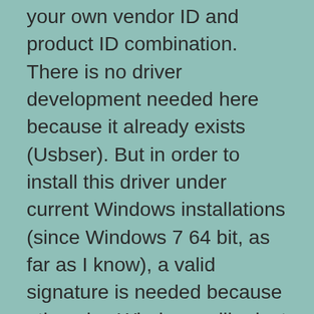your own vendor ID and product ID combination. There is no driver development needed here because it already exists (Usbser). But in order to install this driver under current Windows installations (since Windows 7 64 bit, as far as I know), a valid signature is needed because otherwise Windows will reject the installation due to security reasons. You can bypass this safety measure by booting into Windows' safe mode and then install the driver. But this is of course very unsatisfying, especially if you are going to sell your product. Signing the driver package isn't actually so hard, but it is going to cost you